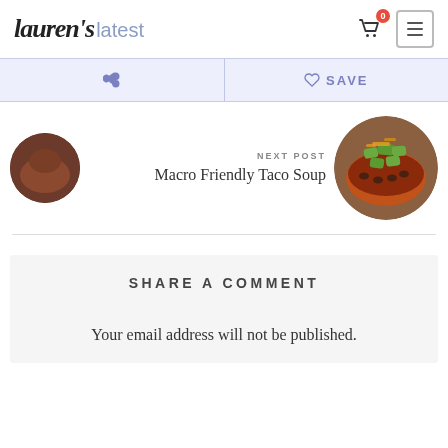Lauren's latest
SAVE
NEXT POST
Macro Friendly Taco Soup
SHARE A COMMENT
Your email address will not be published.